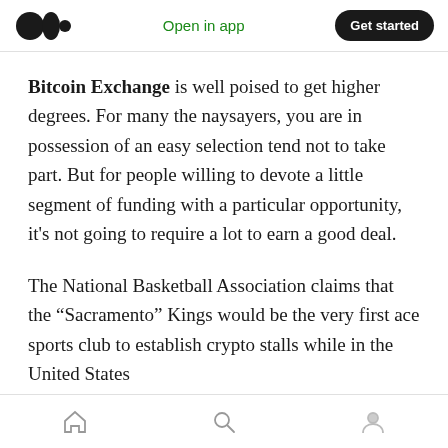Open in app  Get started
Bitcoin Exchange is well poised to get higher degrees. For many the naysayers, you are in possession of an easy selection tend not to take part. But for people willing to devote a little segment of funding with a particular opportunity, it's not going to require a lot to earn a good deal.
The National Basketball Association claims that the “Sacramento” Kings would be the very first ace sports club to establish crypto stalls while in the United States
Home  Search  Profile